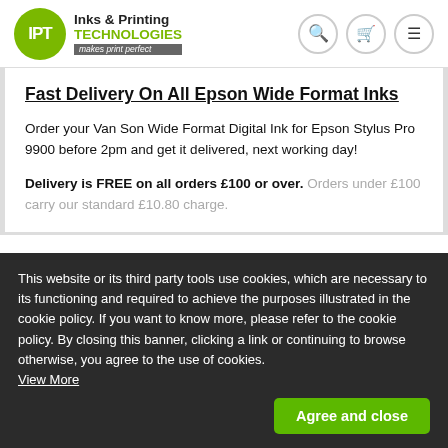[Figure (logo): IPT Inks & Printing Technologies logo - green circle with IPT text, brand name and tagline 'makes print perfect']
Fast Delivery On All Epson Wide Format Inks
Order your Van Son Wide Format Digital Ink for Epson Stylus Pro 9900 before 2pm and get it delivered, next working day!
Delivery is FREE on all orders £100 or over. Orders under £100 carry our standard £10.80 charge.
This website or its third party tools use cookies, which are necessary to its functioning and required to achieve the purposes illustrated in the cookie policy. If you want to know more, please refer to the cookie policy. By closing this banner, clicking a link or continuing to browse otherwise, you agree to the use of cookies. View More